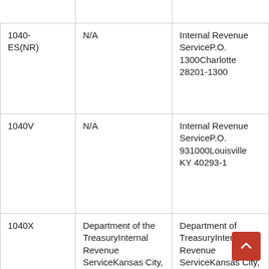| 1040-ES(NR) | N/A | Internal Revenue ServiceP.O. 1300Charlotte, 28201-1300 |
| 1040V | N/A | Internal Revenue ServiceP.O. 931000Louisville, KY 40293-1 |
| 1040X | Department of the TreasuryInternal Revenue ServiceKansas City, MO 64999-0052 | Department of TreasuryInternal Revenue ServiceKansas City, MO 64999- |